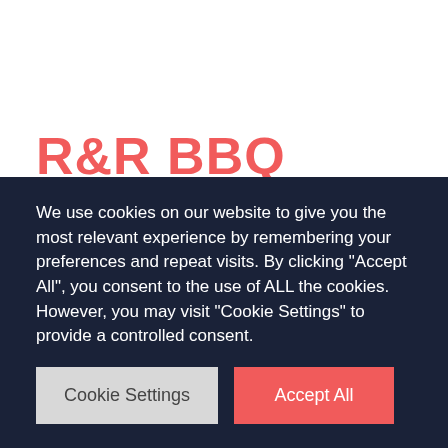R&R BBQ
If the first signs of warm weather have you craving homestyle barbeque, then look no further than R&R BBQ. Their menu is filled with award-winning ribs, beef brisket, pulled pork, grilled chicken, and even spicy andouille sausage. Try a meat plate, brisket tacos, or some of their
We use cookies on our website to give you the most relevant experience by remembering your preferences and repeat visits. By clicking "Accept All", you consent to the use of ALL the cookies. However, you may visit "Cookie Settings" to provide a controlled consent.